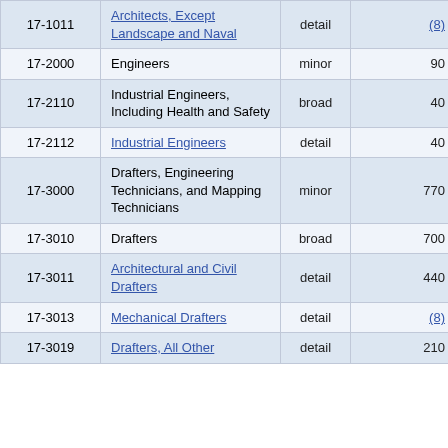| Code | Occupation | Level | Column4 | Column5 |
| --- | --- | --- | --- | --- |
| 17-1011 | Architects, Except Landscape and Naval | detail | (8) | (8) |
| 17-2000 | Engineers | minor | 90 | 33.2% |
| 17-2110 | Industrial Engineers, Including Health and Safety | broad | 40 | 44.3% |
| 17-2112 | Industrial Engineers | detail | 40 | 44.3% |
| 17-3000 | Drafters, Engineering Technicians, and Mapping Technicians | minor | 770 | 16.0% |
| 17-3010 | Drafters | broad | 700 | 17.2% |
| 17-3011 | Architectural and Civil Drafters | detail | 440 | 21.5% |
| 17-3013 | Mechanical Drafters | detail | (8) | (8) |
| 17-3019 | Drafters, All Other | detail | 210 | 32.6% |